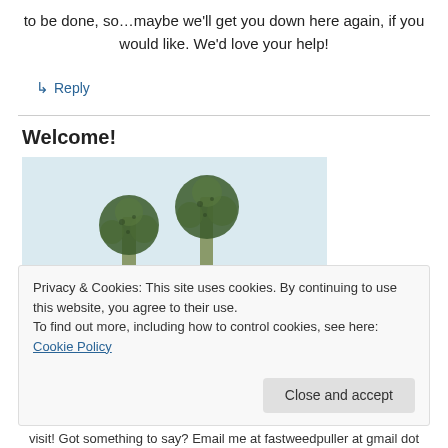to be done, so…maybe we'll get you down here again, if you would like. We'd love your help!
↳ Reply
Welcome!
[Figure (photo): Two plants (possibly dandelions or similar round-headed plants) held up against a light blue-grey sky, viewed from below.]
Privacy & Cookies: This site uses cookies. By continuing to use this website, you agree to their use.
To find out more, including how to control cookies, see here: Cookie Policy
Close and accept
visit! Got something to say? Email me at fastweedpuller at gmail dot